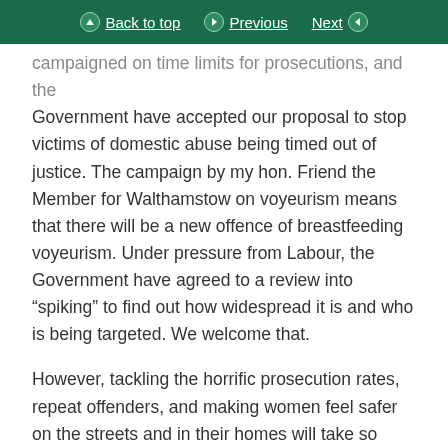Back to top | Previous | Next
campaigned on time limits for prosecutions, and the Government have accepted our proposal to stop victims of domestic abuse being timed out of justice. The campaign by my hon. Friend the Member for Walthamstow on voyeurism means that there will be a new offence of breastfeeding voyeurism. Under pressure from Labour, the Government have agreed to a review into “spiking” to find out how widespread it is and who is being targeted. We welcome that.
However, tackling the horrific prosecution rates, repeat offenders, and making women feel safer on the streets and in their homes will take so much more. We have a list of 50 proposals that we wanted to be included in the Bill to tackle violence against women and girls, and by my count the Government have accepted some of them, but more remain in the